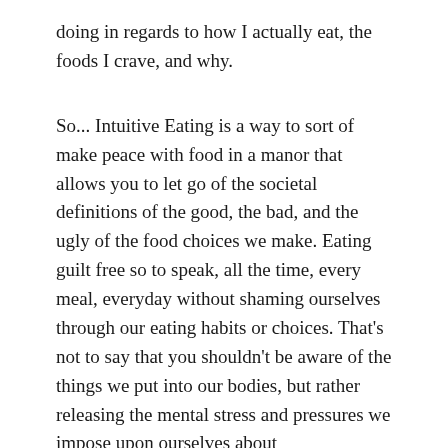doing in regards to how I actually eat, the foods I crave, and why.
So... Intuitive Eating is a way to sort of make peace with food in a manor that allows you to let go of the societal definitions of the good, the bad, and the ugly of the food choices we make. Eating guilt free so to speak, all the time, every meal, everyday without shaming ourselves through our eating habits or choices. That's not to say that you shouldn't be aware of the things we put into our bodies, but rather releasing the mental stress and pressures we impose upon ourselves about the situational habits fitness success all